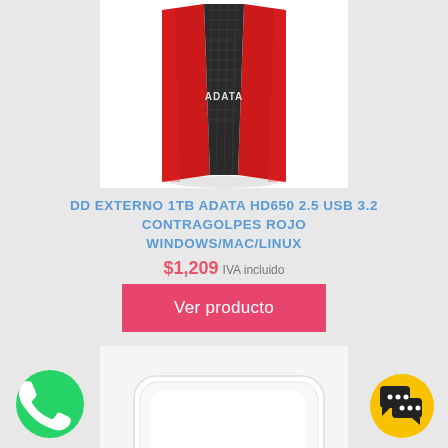[Figure (photo): Red ADATA HD650 external hard drive with carbon fiber texture panel, standing upright on white background]
DD EXTERNO 1TB ADATA HD650 2.5 USB 3.2 CONTRAGOLPES ROJO WINDOWS/MAC/LINUX
$1,209 IVA incluido
Ver producto
[Figure (photo): White ADATA external hard drive HV300 lying flat on white background with ADATA logo visible]